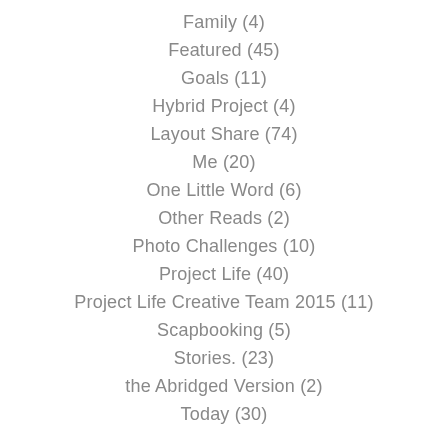Family (4)
Featured (45)
Goals (11)
Hybrid Project (4)
Layout Share (74)
Me (20)
One Little Word (6)
Other Reads (2)
Photo Challenges (10)
Project Life (40)
Project Life Creative Team 2015 (11)
Scapbooking (5)
Stories. (23)
the Abridged Version (2)
Today (30)